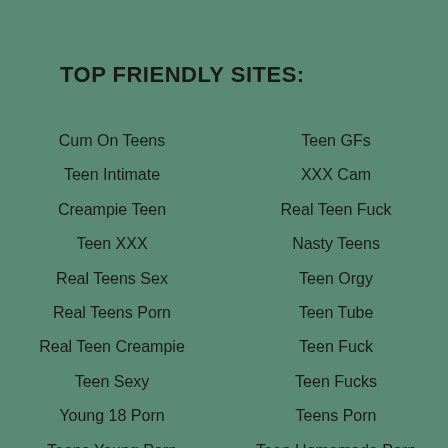TOP FRIENDLY SITES:
Cum On Teens
Teen GFs
Teen Intimate
XXX Cam
Creampie Teen
Real Teen Fuck
Teen XXX
Nasty Teens
Real Teens Sex
Teen Orgy
Real Teens Porn
Teen Tube
Real Teen Creampie
Teen Fuck
Teen Sexy
Teen Fucks
Young 18 Porn
Teens Porn
Teens Young Porn
Teen Homemade Porn